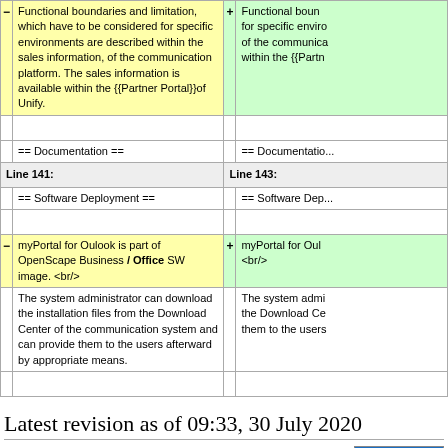|  | Left (old) |  | Right (new) |
| --- | --- | --- | --- |
| − | Functional boundaries and limitation, which have to be considered for specific environments are described within the sales information, of the communication platform. The sales information is available within the {{Partner Portal}}of Unify. | + | Functional boun... for specific enviro... of the communica... within the {{Partn... |
|  |  |  |  |
|  | == Documentation == |  | == Documentatio... |
| Line 141: |  | Line 143: |  |
|  | == Software Deployment == |  | == Software Dep... |
|  |  |  |  |
| − | myPortal for Oulook is part of OpenScape Business / Office SW image. <br/> | + | myPortal for Oul... <br/> |
|  | The system administrator can download the installation files from the Download Center of the communication system and can provide them to the users afterward by appropriate means. |  | The system admi... the Download Ce... them to the users... |
|  |  |  |  |
Latest revision as of 09:33, 30 July 2020
myPortal for Outlook is the user portal integrated in Microsoft Outlook for accessing the unified communication functions of OpenScape Business. It is analogous to myPortal. With myPortal for Outlook, all the myPortal UC Suite features can be integrated seamlessly into Microsoft Office Outlook. Users thus have direct access to their personal voicemail and fax messages, can dial directly from their Outlook contacts and use them for scheduling
[Figure (screenshot): Screenshot of myPortal for Outlook interface showing toolbar and favorites panel]